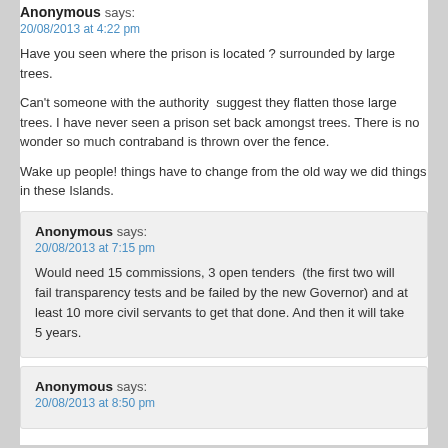Anonymous says:
20/08/2013 at 4:22 pm
Have you seen where the prison is located ? surrounded by large trees.
Can't someone with the authority  suggest they flatten those large trees. I have never seen a prison set back amongst trees. There is no wonder so much contraband is thrown over the fence.
Wake up people! things have to change from the old way we did things in these Islands.
Anonymous says:
20/08/2013 at 7:15 pm
Would need 15 commissions, 3 open tenders  (the first two will fail transparency tests and be failed by the new Governor) and at least 10 more civil servants to get that done. And then it will take 5 years.
Anonymous says:
20/08/2013 at 8:50 pm